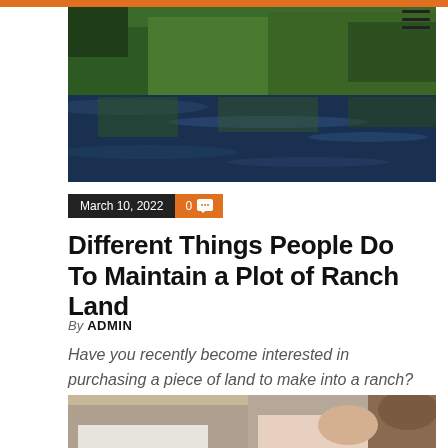[Figure (photo): Aerial or close-up view of a green reflective lake or pond with water and green foliage reflections]
March 10, 2022  0
Different Things People Do To Maintain a Plot of Ranch Land
By ADMIN
Have you recently become interested in purchasing a piece of land to make into a ranch? Many people have second...
[Figure (photo): Two people sitting, a man in a white shirt with clasped hands and a woman in a light pink blouse, cropped at torso level]